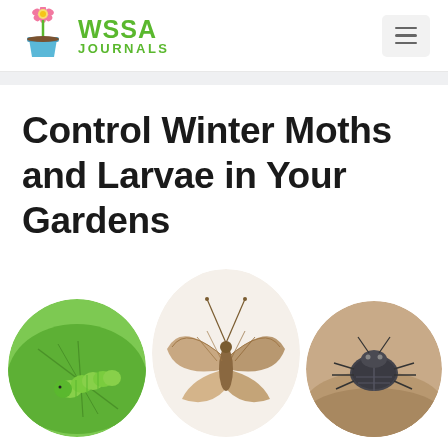WSSA JOURNALS
Control Winter Moths and Larvae in Your Gardens
[Figure (photo): Three circular cropped photos: left shows a green caterpillar/larva on a green leaf, center shows a brown winter moth, right shows a dark-colored insect/moth on sandy ground.]